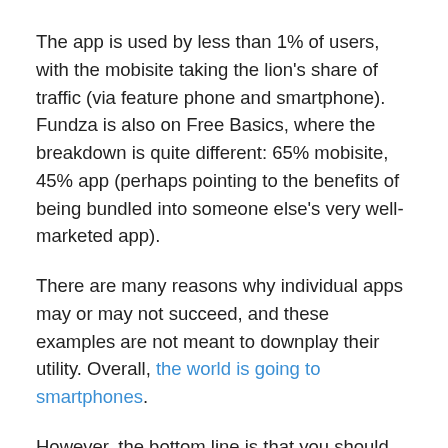The app is used by less than 1% of users, with the mobisite taking the lion's share of traffic (via feature phone and smartphone). Fundza is also on Free Basics, where the breakdown is quite different: 65% mobisite, 45% app (perhaps pointing to the benefits of being bundled into someone else's very well-marketed app).
There are many reasons why individual apps may or may not succeed, and these examples are not meant to downplay their utility. Overall, the world is going to smartphones.
However, the bottom line is that you should not write off the humble feature phone in Africa just yet. It does old tech very well, internet messaging and the mobile web, which for many ICT4D projects is still their bread and butter access channel.